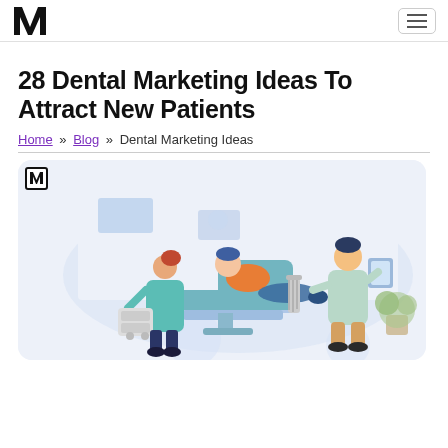W logo and navigation hamburger menu
28 Dental Marketing Ideas To Attract New Patients
Home » Blog » Dental Marketing Ideas
[Figure (illustration): Dental office scene illustration showing a patient reclining in a dental chair, a female dental assistant in teal scrubs leaning over, and a male dentist in a lab coat holding an x-ray. Background is light blue/lavender with dental equipment and decor.]